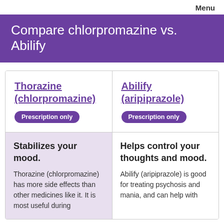Menu
Compare chlorpromazine vs. Abilify
| Thorazine (chlorpromazine) | Abilify (aripiprazole) |
| --- | --- |
| Prescription only | Prescription only |
| Stabilizes your mood.
Thorazine (chlorpromazine) has more side effects than other medicines like it. It is most useful during | Helps control your thoughts and mood.
Abilify (aripiprazole) is good for treating psychosis and mania, and can help with |